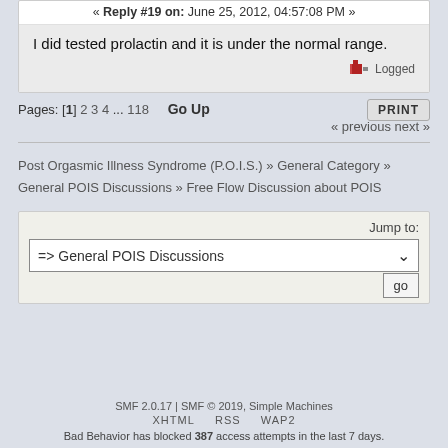« Reply #19 on: June 25, 2012, 04:57:08 PM »
I did tested prolactin and it is under the normal range.
Logged
Pages: [1] 2 3 4 ... 118   Go Up
PRINT
« previous next »
Post Orgasmic Illness Syndrome (P.O.I.S.) » General Category » General POIS Discussions » Free Flow Discussion about POIS
Jump to: => General POIS Discussions
go
SMF 2.0.17 | SMF © 2019, Simple Machines
XHTML   RSS   WAP2
Bad Behavior has blocked 387 access attempts in the last 7 days.